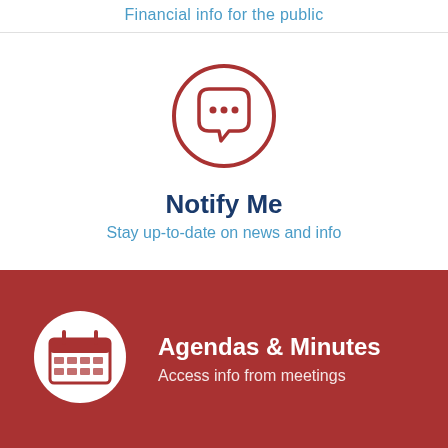Financial info for the public
[Figure (illustration): Chat bubble icon inside a red circle outline]
Notify Me
Stay up-to-date on news and info
[Figure (illustration): Calendar icon inside a white circle on red background]
Agendas & Minutes
Access info from meetings